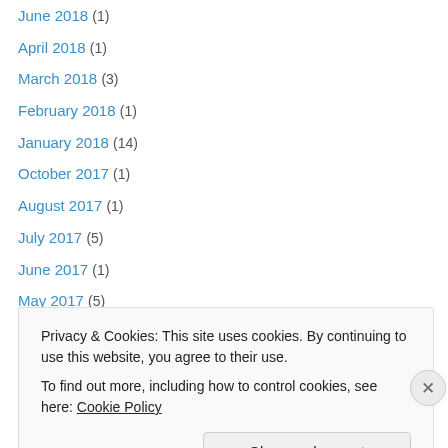June 2018 (1)
April 2018 (1)
March 2018 (3)
February 2018 (1)
January 2018 (14)
October 2017 (1)
August 2017 (1)
July 2017 (5)
June 2017 (1)
May 2017 (5)
April 2017 (2)
March 2017 (5)
February 2017 (1)
Privacy & Cookies: This site uses cookies. By continuing to use this website, you agree to their use.
To find out more, including how to control cookies, see here: Cookie Policy
Close and accept